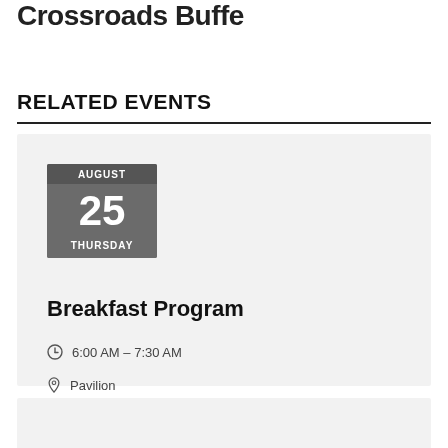Crossroads Bufet
RELATED EVENTS
AUGUST 25 THURSDAY — Breakfast Program — 6:00 AM – 7:30 AM — Pavilion